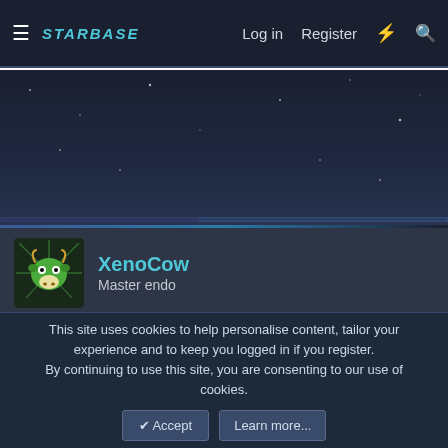STARBASE  Log in  Register
[Figure (screenshot): Dark space-themed background image area]
XenoCow
Master endo
Apr 30, 2021  #16
Oobfiche said:
i only got a fragment of the information. but heres some from lauri about it

LauriFB — Today at 1:43 AM
This site uses cookies to help personalise content, tailor your experience and to keep you logged in if you register.
By continuing to use this site, you are consenting to our use of cookies.
Accept  Learn more...